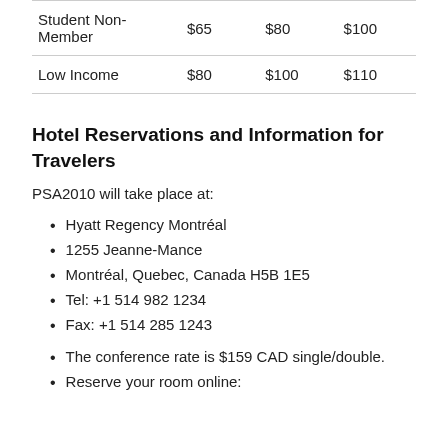| Student Non-Member | $65 | $80 | $100 |
| Low Income | $80 | $100 | $110 |
Hotel Reservations and Information for Travelers
PSA2010 will take place at:
Hyatt Regency Montréal
1255 Jeanne-Mance
Montréal, Quebec, Canada H5B 1E5
Tel: +1 514 982 1234
Fax: +1 514 285 1243
The conference rate is $159 CAD single/double.
Reserve your room online: